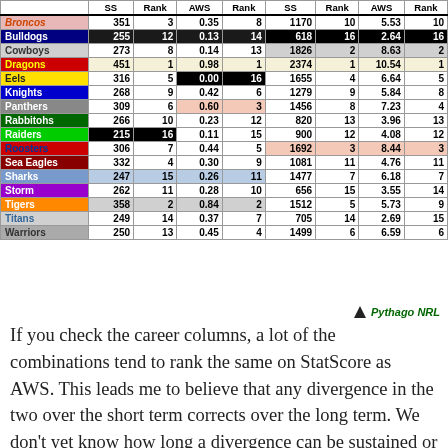|  | SS | Rank | AWS | Rank | SS | Rank | AWS | Rank |
| --- | --- | --- | --- | --- | --- | --- | --- | --- |
| Broncos | 351 | 3 | 0.35 | 8 | 1170 | 10 | 5.53 | 10 |
| Bulldogs | 255 | 12 | 0.13 | 14 | 618 | 16 | 2.64 | 16 |
| Cowboys | 273 | 8 | 0.14 | 13 | 1826 | 2 | 8.63 | 2 |
| Dragons | 451 | 1 | 0.98 | 1 | 2374 | 1 | 10.54 | 1 |
| Eels | 316 | 5 | 0.00 | 16 | 1655 | 4 | 6.64 | 5 |
| Knights | 268 | 9 | 0.42 | 6 | 1279 | 9 | 5.84 | 8 |
| Panthers | 309 | 6 | 0.60 | 3 | 1456 | 8 | 7.23 | 4 |
| Rabbitohs | 266 | 10 | 0.23 | 12 | 820 | 13 | 3.96 | 13 |
| Raiders | 215 | 16 | 0.11 | 15 | 900 | 12 | 4.08 | 12 |
| Roosters | 306 | 7 | 0.44 | 5 | 1692 | 3 | 8.44 | 3 |
| Sea Eagles | 332 | 4 | 0.30 | 9 | 1081 | 11 | 4.76 | 11 |
| Sharks | 247 | 15 | 0.26 | 11 | 1477 | 7 | 6.18 | 7 |
| Storm | 262 | 11 | 0.28 | 10 | 656 | 15 | 3.55 | 14 |
| Tigers | 358 | 2 | 0.84 | 2 | 1512 | 5 | 5.73 | 9 |
| Titans | 249 | 14 | 0.37 | 7 | 705 | 14 | 2.69 | 15 |
| Warriors | 250 | 13 | 0.45 | 4 | 1499 | 6 | 6.59 | 6 |
If you check the career columns, a lot of the combinations tend to rank the same on StatScore as AWS. This leads me to believe that any divergence in the two over the short term corrects over the long term. We don't yet know how long a divergence can be sustained or which direction the re-convergence will come (does StatScore improve to meet AWS or vice versa?) but for